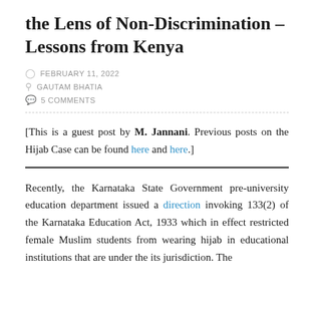the Lens of Non-Discrimination – Lessons from Kenya
FEBRUARY 11, 2022 | GAUTAM BHATIA | 5 COMMENTS
[This is a guest post by M. Jannani. Previous posts on the Hijab Case can be found here and here.]
Recently, the Karnataka State Government pre-university education department issued a direction invoking 133(2) of the Karnataka Education Act, 1933 which in effect restricted female Muslim students from wearing hijab in educational institutions that are under the its jurisdiction. The